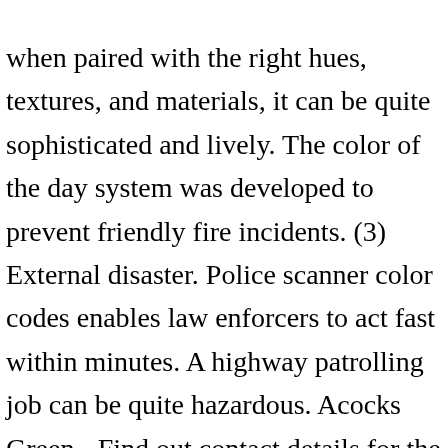when paired with the right hues, textures, and materials, it can be quite sophisticated and lively. The color of the day system was developed to prevent friendly fire incidents. (3) External disaster. Police scanner color codes enables law enforcers to act fast within minutes. A highway patrolling job can be quite hazardous. Acocks Green - Find out contact details for the team, information about their work and details of upcoming meetings | West Midlands Police. For instance, a bomb is sniffed by a k-9 dog inside a